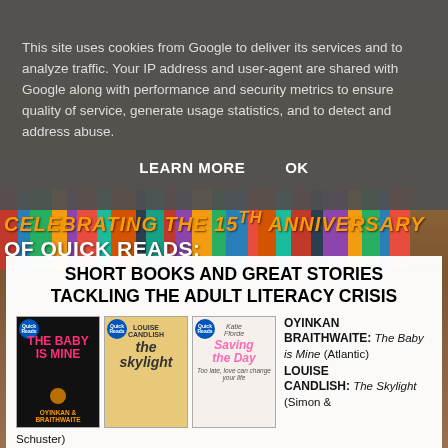This site uses cookies from Google to deliver its services and to analyze traffic. Your IP address and user-agent are shared with Google along with performance and security metrics to ensure quality of service, generate usage statistics, and to detect and address abuse.
LEARN MORE   OK
CELEBRATING THE 15TH ANNIVERSARY OF QUICK READS:
SHORT BOOKS AND GREAT STORIES TACKLING THE ADULT LITERACY CRISIS
OYINKAN BRAITHWAITE: The Baby is Mine (Atlantic) LOUISE CANDLISH: The Skylight (Simon & Schuster)
KATIE FFORDE: Saving the Day (Arrow)
PETER JAMES: Wish You Were Dead (Macmillan)